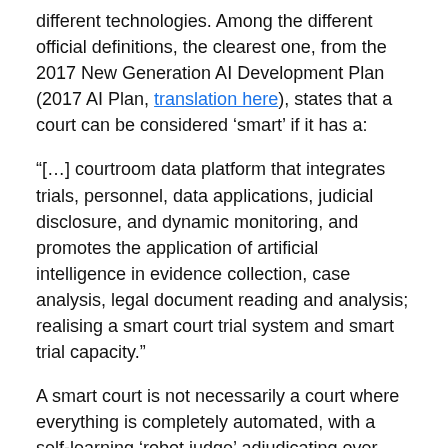different technologies. Among the different official definitions, the clearest one, from the 2017 New Generation AI Development Plan (2017 AI Plan, translation here), states that a court can be considered 'smart' if it has a:
“[…] courtroom data platform that integrates trials, personnel, data applications, judicial disclosure, and dynamic monitoring, and promotes the application of artificial intelligence in evidence collection, case analysis, legal document reading and analysis; realising a smart court trial system and smart trial capacity.”
A smart court is not necessarily a court where everything is completely automated, with a self-learning ‘robot judge’ adjudicating over cases without the former’s oversight.